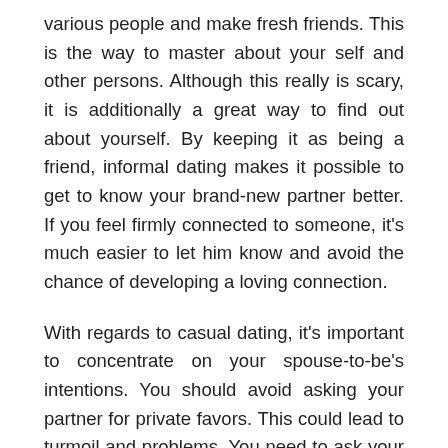various people and make fresh friends. This is the way to master about your self and other persons. Although this really is scary, it is additionally a great way to find out about yourself. By keeping it as being a friend, informal dating makes it possible to get to know your brand-new partner better. If you feel firmly connected to someone, it’s much easier to let him know and avoid the chance of developing a loving connection.
With regards to casual dating, it’s important to concentrate on your spouse-to-be’s intentions. You should avoid asking your partner for private favors. This could lead to turmoil and problems. You need to ask your mates for these favors if you are uncertain about how you feel or want to be careful.